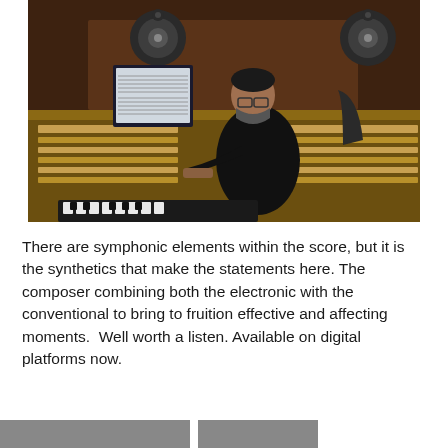[Figure (photo): A person wearing a black face mask and black shirt sits at a large professional audio mixing console in a recording studio. They are working at a computer monitor with sheet music displayed. The studio features professional studio monitors (speakers) mounted above the console, warm wood paneling, and a MIDI keyboard in the foreground.]
There are symphonic elements within the score, but it is the synthetics that make the statements here. The composer combining both the electronic with the conventional to bring to fruition effective and affecting moments.  Well worth a listen. Available on digital platforms now.